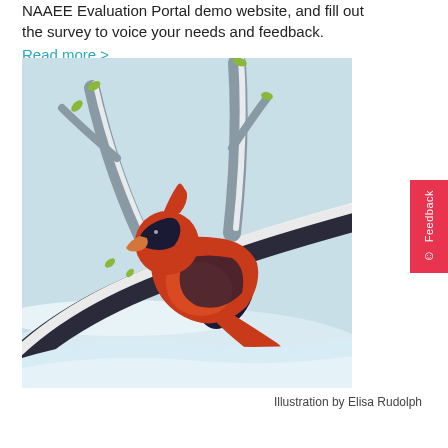NAAEE Evaluation Portal demo website, and fill out the survey to voice your needs and feedback. Read more >
[Figure (illustration): Illustration of a red cardinal bird perched on a snow-covered branch with bare grey trees in a light blue winter background]
Illustration by Elisa Rudolph